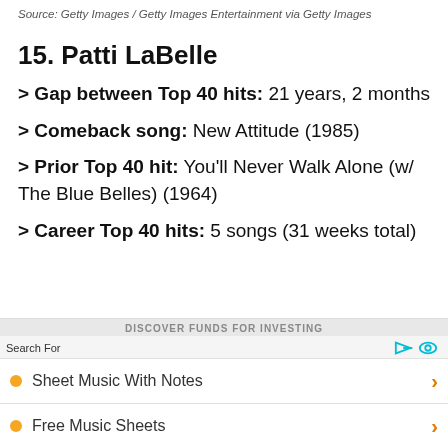Source: Getty Images / Getty Images Entertainment via Getty Images
15. Patti LaBelle
> Gap between Top 40 hits: 21 years, 2 months
> Comeback song: New Attitude (1985)
> Prior Top 40 hit: You'll Never Walk Alone (w/ The Blue Belles) (1964)
> Career Top 40 hits: 5 songs (31 weeks total)
Search For
Sheet Music With Notes
Free Music Sheets